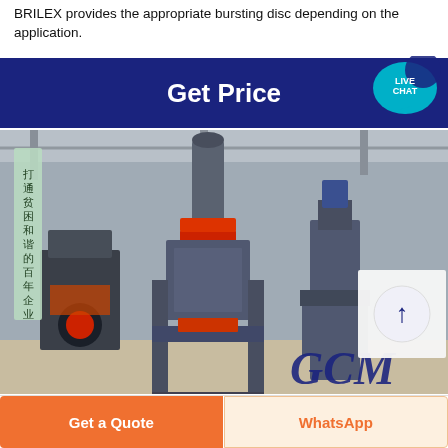BRILEX provides the appropriate bursting disc depending on the application.
[Figure (other): Dark blue 'Get Price' banner with white bold text, and a teal Live Chat speech bubble icon in the top-right corner]
[Figure (photo): Photo of industrial grinding/milling machines in a factory setting with Chinese text banner on the left and GCM logo watermark at the bottom right. A back-to-top arrow overlay is visible on the right side.]
[Figure (other): Two bottom buttons: orange 'Get a Quote' button on the left, and a light 'WhatsApp' button with orange text on the right]